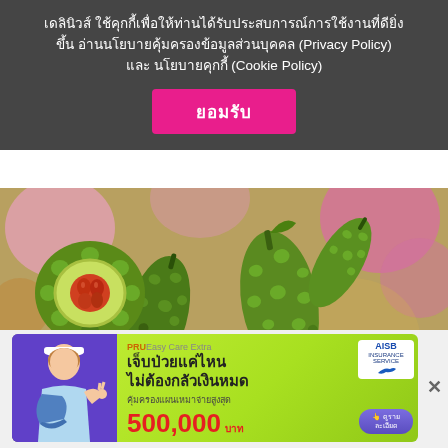เดลินิวส์ ใช้คุกกี้เพื่อให้ท่านได้รับประสบการณ์การใช้งานที่ดียิ่งขึ้น อ่านนโยบายคุ้มครองข้อมูลส่วนบุคคล (Privacy Policy) และ นโยบายคุกกี้ (Cookie Policy)
ยอมรับ
[Figure (photo): Bitter melon (มะระ) vegetables, green and bumpy, some cut open showing red seeds inside, arranged on a wooden surface with colorful bokeh background]
[Figure (screenshot): Advertisement banner for PRUEasy Care Extra insurance. Shows a woman with arm in sling. Text: PRUEasy Care Extra, เจ็บป่วยแค่ไหน ไม่ต้องกลัวเงินหมด, คุ้มครองแผนเหมาจ่ายสูงสุด 500,000 บาท. AISB logo and ดูรายละเอียด button visible.]